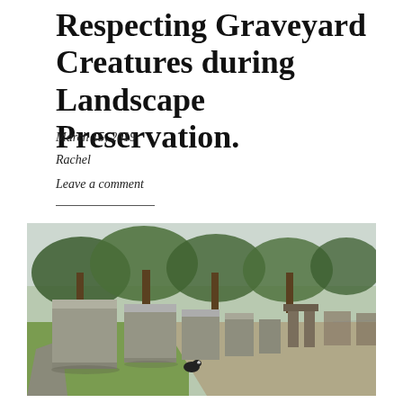Respecting Graveyard Creatures during Landscape Preservation.
March 15, 2019
Rachel
Leave a comment
[Figure (photo): Outdoor photograph of a graveyard path with large stone tomb structures lined along a gravel walkway, trees in the background, and a small black and white cat resting near the base of one of the stone monuments. Green grass borders the path on the left side.]